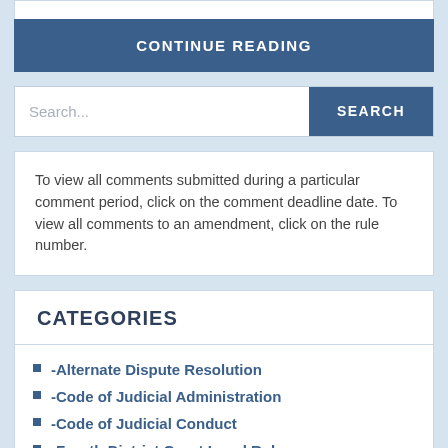CONTINUE READING
Search...
SEARCH
To view all comments submitted during a particular comment period, click on the comment deadline date. To view all comments to an amendment, click on the rule number.
CATEGORIES
-Alternate Dispute Resolution
-Code of Judicial Administration
-Code of Judicial Conduct
-Fourth District Court Local Rules